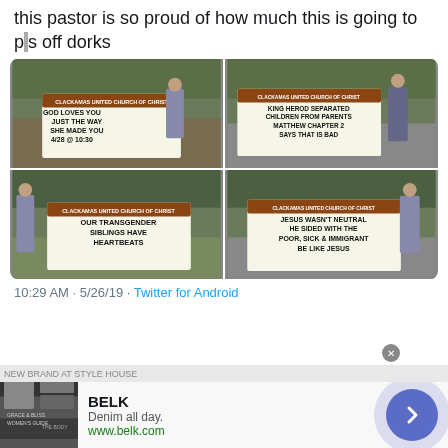this pastor is so proud of how much this is going to p█s off dorks
[Figure (photo): Four photos in a 2x2 grid of a pastor standing next to church signs. Top-left: 'GOD LOVES YOU JUST THE WAY SHE MADE YOU 4/28 @ 10:30' at Clackamas United Church of Christ. Top-right: 'KING HEROD SEPARATED CHILDREN FROM PARENTS MATTHEW CHAPTER 2 SAYS THAT IS BAD'. Bottom-left: 'OUR TRANSGENDER SIBLINGS HAVE HEARTBEATS'. Bottom-right: 'JESUS WASN'T NEUTRAL HE SIDED WITH THE POOR, SICK & IMMIGRANT BE LIKE JESUS'.]
10:29 AM · 5/26/19 · Twitter for Android
[Figure (screenshot): Advertisement for BELK: 'Denim all day. www.belk.com' with clothing images and a blue circular arrow button]